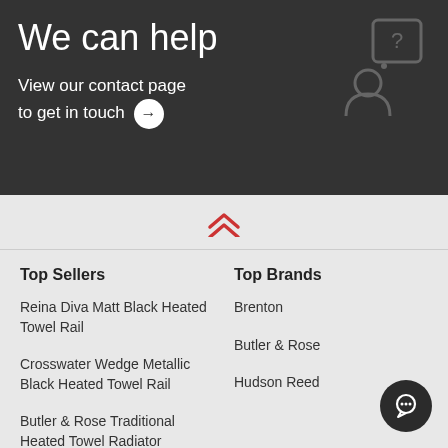We can help
View our contact page to get in touch →
[Figure (illustration): Dark background banner with a person/chat question mark icon on the right side]
[Figure (illustration): Red double chevron up arrow indicating scroll to top]
Top Sellers
Top Brands
Reina Diva Matt Black Heated Towel Rail
Brenton
Crosswater Wedge Metallic Black Heated Towel Rail
Butler & Rose
Butler & Rose Traditional Heated Towel Radiator
Hudson Reed